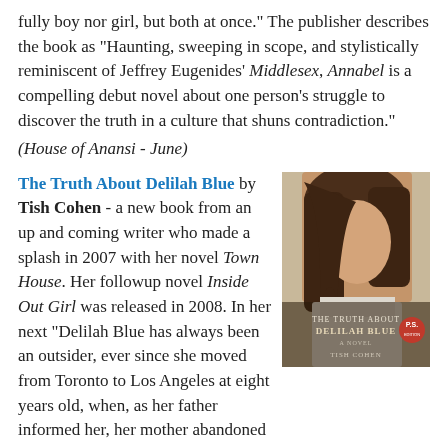fully boy nor girl, but both at once." The publisher describes the book as "Haunting, sweeping in scope, and stylistically reminiscent of Jeffrey Eugenides' Middlesex, Annabel is a compelling debut novel about one person's struggle to discover the truth in a culture that shuns contradiction." (House of Anansi - June)
The Truth About Delilah Blue by Tish Cohen - a new book from an up and coming writer who made a splash in 2007 with her novel Town House. Her followup novel Inside Out Girl was released in 2008. In her next "Delilah Blue has always been an outsider, ever since she moved from Toronto to Los Angeles at eight years old, when, as her father informed her, her mother abandoned the family. Twenty now, and desperate to become an artist but unable to pay for classes, Delilah takes a job as an art model, removing her clothes for a room full of students so she can learn from the professors. Her only real companion is her still-single father, recently
[Figure (photo): Book cover of 'The Truth About Delilah Blue' by Tish Cohen, showing a young woman with long hair obscuring her face, holding something white, with the title and author name on the cover.]